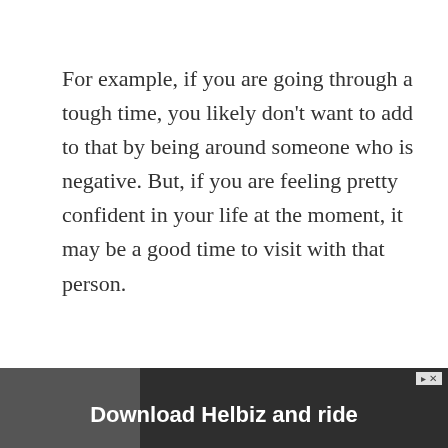For example, if you are going through a tough time, you likely don't want to add to that by being around someone who is negative. But, if you are feeling pretty confident in your life at the moment, it may be a good time to visit with that person.
Just be aware that you will want to limit
[Figure (screenshot): Helbiz advertisement banner at the bottom of the page showing 'Download Helbiz and ride' with a dark background and a photo of a person on a scooter]